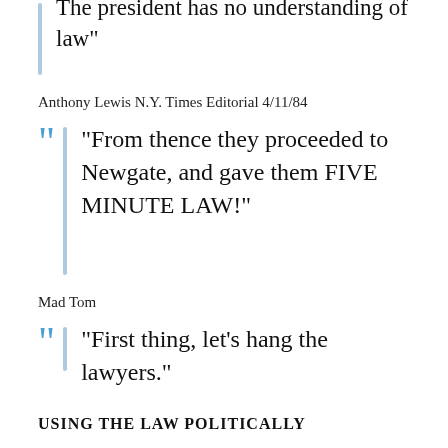"The president has no understanding of law"
Anthony Lewis N.Y. Times Editorial 4/11/84
"From thence they proceeded to Newgate, and gave them FIVE MINUTE LAW!"
Mad Tom
"First thing, let's hang the lawyers."
USING THE LAW POLITICALLY